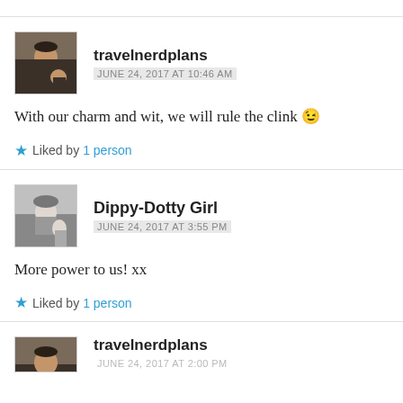[Figure (photo): Avatar photo of travelnerdplans - man with child]
travelnerdplans
JUNE 24, 2017 AT 10:46 AM
With our charm and wit, we will rule the clink 😉
Liked by 1 person
[Figure (photo): Avatar photo of Dippy-Dotty Girl - black and white photo]
Dippy-Dotty Girl
JUNE 24, 2017 AT 3:55 PM
More power to us! xx
Liked by 1 person
[Figure (photo): Avatar photo of travelnerdplans - partial view at bottom]
travelnerdplans
JUNE 24, 2017 AT 2:00 PM